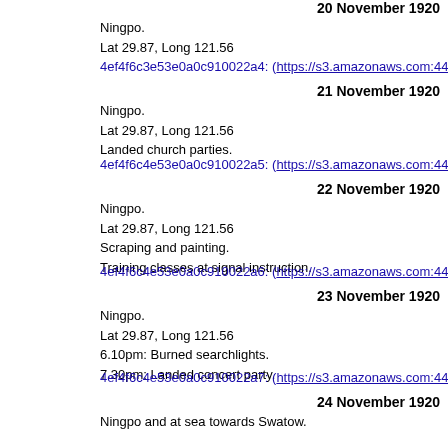20 November 1920
Ningpo.
Lat 29.87, Long 121.56
4ef4f6c3e53e0a0c910022a4: (https://s3.amazonaws.com:443/oldwea
21 November 1920
Ningpo.
Lat 29.87, Long 121.56
Landed church parties.
4ef4f6c4e53e0a0c910022a5: (https://s3.amazonaws.com:443/oldwea
22 November 1920
Ningpo.
Lat 29.87, Long 121.56
Scraping and painting.
Training classes at signal instruction.
4ef4f6c4e53e0a0c910022a6: (https://s3.amazonaws.com:443/oldwea
23 November 1920
Ningpo.
Lat 29.87, Long 121.56
6.10pm: Burned searchlights.
7.30pm: Landed concert party.
4ef4f6c4e53e0a0c910022a7: (https://s3.amazonaws.com:443/oldwea
24 November 1920
Ningpo and at sea towards Swatow.